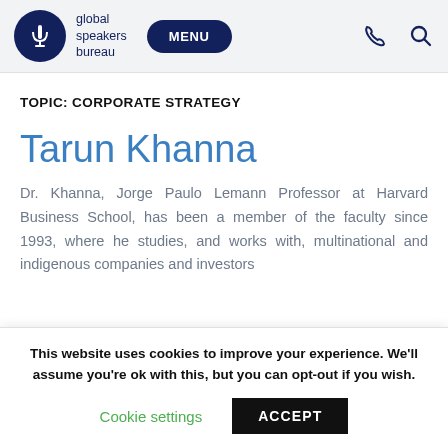global speakers bureau | MENU
TOPIC: CORPORATE STRATEGY
Tarun Khanna
Dr. Khanna, Jorge Paulo Lemann Professor at Harvard Business School, has been a member of the faculty since 1993, where he studies, and works with, multinational and indigenous companies and investors
This website uses cookies to improve your experience. We'll assume you're ok with this, but you can opt-out if you wish.
Cookie settings  ACCEPT